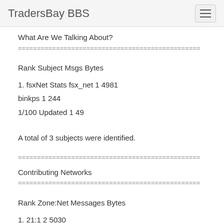TradersBay BBS
What Are We Talking About?
Rank Subject Msgs Bytes
1. fsxNet Stats fsx_net 1 4981
binkps 1 244
1/100 Updated 1 49
A total of 3 subjects were identified.
Contributing Networks
Rank Zone:Net Messages Bytes
1. 21:1 2 5030
2. 21:4 1 244